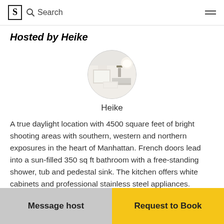S Search
Hosted by Heike
[Figure (photo): Circular profile photo of host Heike showing a bright white interior room]
Heike
A true daylight location with 4500 square feet of bright shooting areas with southern, western and northern exposures in the heart of Manhattan. French doors lead into a sun-filled 350 sq ft bathroom with a free-standing shower, tub and pedestal sink. The kitchen offers white cabinets and professional stainless steel appliances. Antique Indian doors and frames add a variety of
Message host
Request to Book